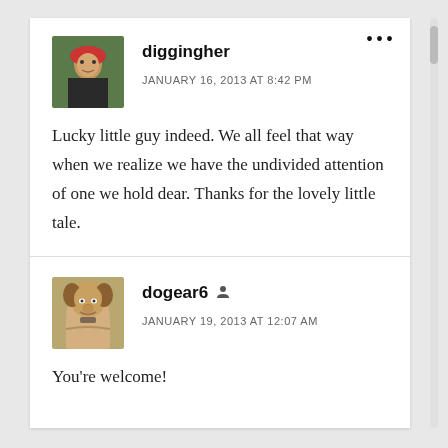diggingher
JANUARY 16, 2013 AT 8:42 PM
Lucky little guy indeed. We all feel that way when we realize we have the undivided attention of one we hold dear. Thanks for the lovely little tale.
dogear6
JANUARY 19, 2013 AT 12:07 AM
You're welcome!